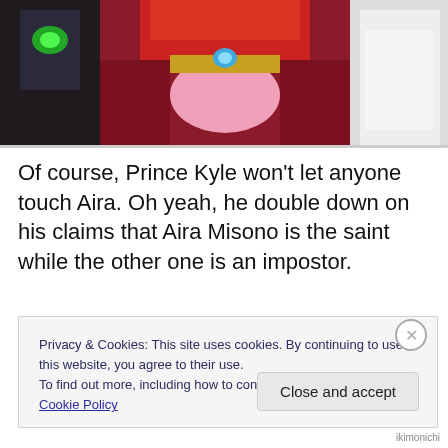[Figure (illustration): Anime screenshot showing a character with red hair wearing a dark red/maroon outfit with pink bow and blue gem, flanked by white-coated figures and a character with green gem visible at left]
Of course, Prince Kyle won't let anyone touch Aira. Oh yeah, he double down on his claims that Aira Misono is the saint while the other one is an impostor.
Partially visible text below main paragraph (cut off by cookie banner)
Privacy & Cookies: This site uses cookies. By continuing to use this website, you agree to their use.
To find out more, including how to control cookies, see here: Cookie Policy
Close and accept